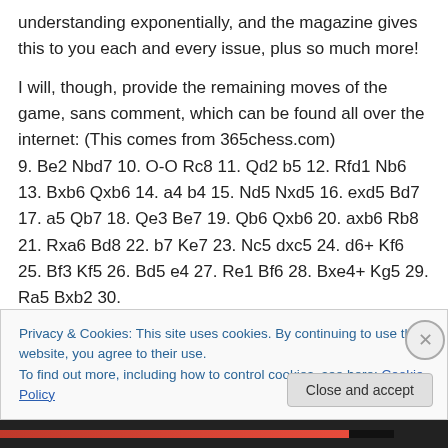understanding exponentially, and the magazine gives this to you each and every issue, plus so much more!
I will, though, provide the remaining moves of the game, sans comment, which can be found all over the internet: (This comes from 365chess.com)
9. Be2 Nbd7 10. O-O Rc8 11. Qd2 b5 12. Rfd1 Nb6 13. Bxb6 Qxb6 14. a4 b4 15. Nd5 Nxd5 16. exd5 Bd7 17. a5 Qb7 18. Qe3 Be7 19. Qb6 Qxb6 20. axb6 Rb8 21. Rxa6 Bd8 22. b7 Ke7 23. Nc5 dxc5 24. d6+ Kf6 25. Bf3 Kf5 26. Bd5 e4 27. Re1 Bf6 28. Bxe4+ Kg5 29. Ra5 Bxb2 30.
Privacy & Cookies: This site uses cookies. By continuing to use this website, you agree to their use.
To find out more, including how to control cookies, see here: Cookie Policy